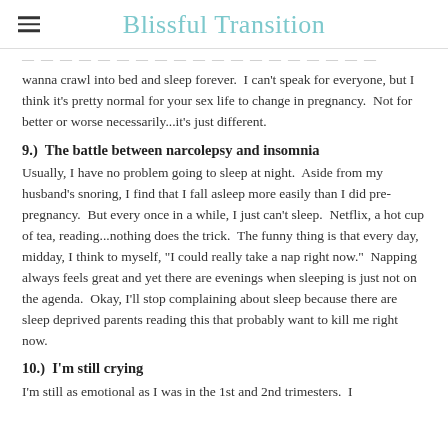Blissful Transition
...wanna crawl into bed and sleep forever.  I can't speak for everyone, but I think it's pretty normal for your sex life to change in pregnancy.  Not for better or worse necessarily...it's just different.
9.)  The battle between narcolepsy and insomnia
Usually, I have no problem going to sleep at night.  Aside from my husband's snoring, I find that I fall asleep more easily than I did pre-pregnancy.  But every once in a while, I just can't sleep.  Netflix, a hot cup of tea, reading...nothing does the trick.  The funny thing is that every day, midday, I think to myself, "I could really take a nap right now."  Napping always feels great and yet there are evenings when sleeping is just not on the agenda.  Okay, I'll stop complaining about sleep because there are sleep deprived parents reading this that probably want to kill me right now.
10.)  I'm still crying
I'm still as emotional as I was in the 1st and 2nd trimesters.  I